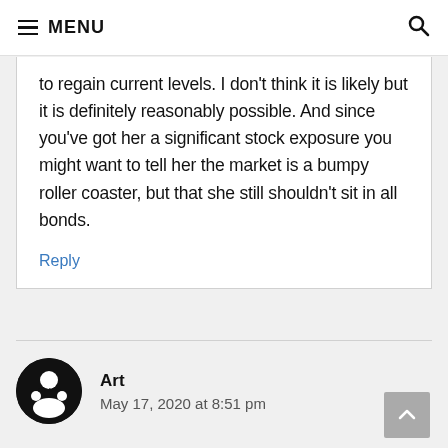≡ MENU
to regain current levels. I don't think it is likely but it is definitely reasonably possible. And since you've got her a significant stock exposure you might want to tell her the market is a bumpy roller coaster, but that she still shouldn't sit in all bonds.
Reply
Art
May 17, 2020 at 8:51 pm